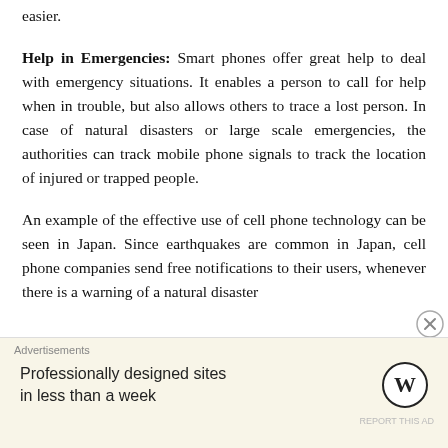easier.
Help in Emergencies: Smart phones offer great help to deal with emergency situations. It enables a person to call for help when in trouble, but also allows others to trace a lost person. In case of natural disasters or large scale emergencies, the authorities can track mobile phone signals to track the location of injured or trapped people.
An example of the effective use of cell phone technology can be seen in Japan. Since earthquakes are common in Japan, cell phone companies send free notifications to their users, whenever there is a warning of a natural disaster
Advertisements
Professionally designed sites in less than a week